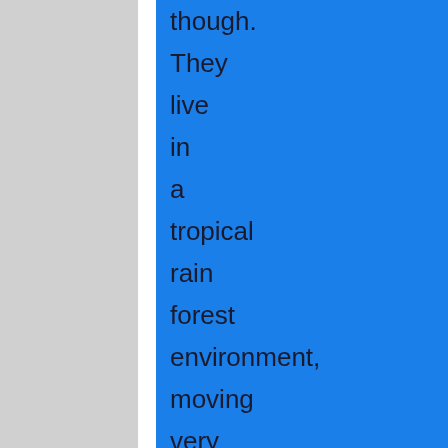though. They live in a tropical rain forest environment, moving very quickly. Fox has a 6 by 6 kilometre nevé, or collection area. The base of